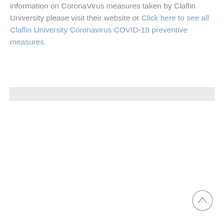information on CoronaVirus measures taken by Claflin University please visit their website or Click here to see all Claflin University Coronavirus COVID-19 preventive measures.
[Figure (other): Gray horizontal divider bar]
[Figure (other): Scroll-to-top circular button with upward chevron arrow]